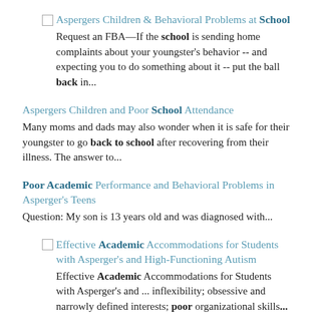Aspergers Children & Behavioral Problems at School
Request an FBA—If the school is sending home complaints about your youngster's behavior -- and expecting you to do something about it -- put the ball back in...
Aspergers Children and Poor School Attendance
Many moms and dads may also wonder when it is safe for their youngster to go back to school after recovering from their illness. The answer to...
Poor Academic Performance and Behavioral Problems in Asperger's Teens
Question: My son is 13 years old and was diagnosed with...
Effective Academic Accommodations for Students with Asperger's and High-Functioning Autism
Effective Academic Accommodations for Students with Asperger's and ... inflexibility; obsessive and narrowly defined interests; poor organizational skills...